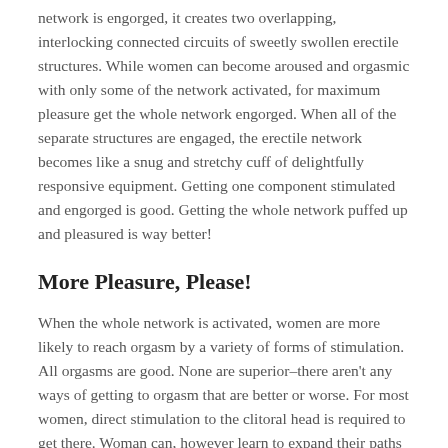network is engorged, it creates two overlapping, interlocking connected circuits of sweetly swollen erectile structures. While women can become aroused and orgasmic with only some of the network activated, for maximum pleasure get the whole network engorged. When all of the separate structures are engaged, the erectile network becomes like a snug and stretchy cuff of delightfully responsive equipment. Getting one component stimulated and engorged is good. Getting the whole network puffed up and pleasured is way better!
More Pleasure, Please!
When the whole network is activated, women are more likely to reach orgasm by a variety of forms of stimulation. All orgasms are good. None are superior–there aren't any ways of getting to orgasm that are better or worse. For most women, direct stimulation to the clitoral head is required to get there. Woman can, however learn to expand their paths to orgasm, expand their orgasms and